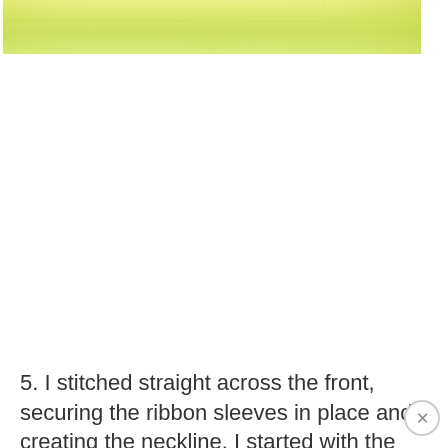[Figure (photo): A strip of pale yellow/lime fabric or textile material, partially visible at the top of the page, showing the bottom edge of the fabric with a slightly crumpled texture.]
5. I stitched straight across the front, securing the ribbon sleeves in place and creating the neckline. I started with the 'front' piece, secured the ribbons in place and stitched the back piece as well. At this point, the two pieces were